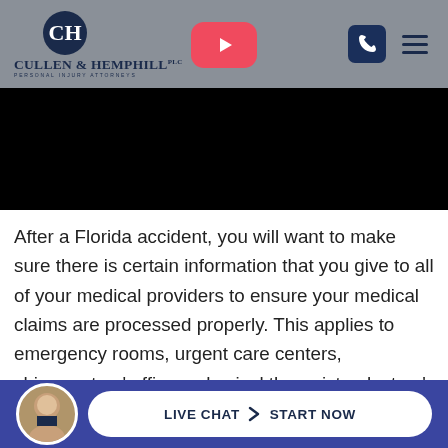Cullen & Hemphill PLC - Personal Injury Attorneys
[Figure (screenshot): Website header with Cullen & Hemphill PLC logo on gray background, YouTube play button overlay, phone icon button and hamburger menu icon on right side, followed by black video player area below]
After a Florida accident, you will want to make sure there is certain information that you give to all of your medical providers to ensure your medical claims are processed properly. This applies to emergency rooms, urgent care centers, chiropractors' offices, physical therapists, doctors' offices, or anyone who provides you accident relate[d] [med]ica[l]
LIVE CHAT > START NOW